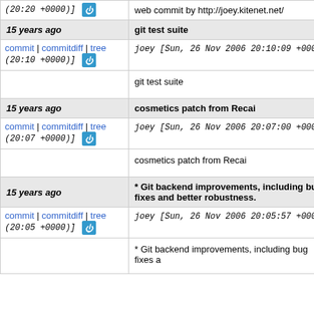| (20:20 +0000)] | web commit by http://joey.kitenet.net/ |
| 15 years ago | git test suite |
| commit | commitdiff | tree
(20:10 +0000)] | joey [Sun, 26 Nov 2006 20:10:09 +0000 |
|  | git test suite |
| 15 years ago | cosmetics patch from Recai |
| commit | commitdiff | tree
(20:07 +0000)] | joey [Sun, 26 Nov 2006 20:07:00 +0000 |
|  | cosmetics patch from Recai |
| 15 years ago | * Git backend improvements, including bug fixes and better robustness. |
| commit | commitdiff | tree
(20:05 +0000)] | joey [Sun, 26 Nov 2006 20:05:57 +0000 |
|  | * Git backend improvements, including bug fixes a |